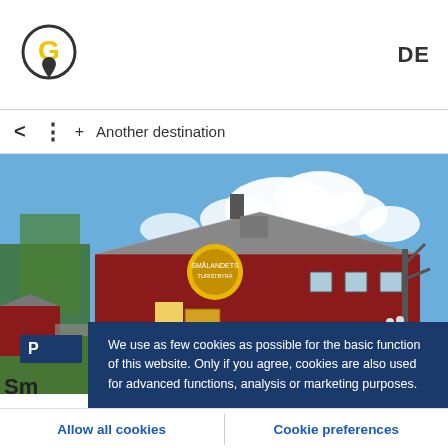[Figure (logo): Circular logo with a G letter in gold/yellow and a map pin icon below, on white background]
DE
< : + Another destination
[Figure (photo): A red wooden barn-style building with a grey metal roof and a yellow circular sign. Large green trees on the left, blue sky with white clouds in the background. Two people visible near the building on the right.]
P
We use as few cookies as possible for the basic function of this website. Only if you agree, cookies are also used for advanced functions, analysis or marketing purposes.
Sm
Ell......
Allow all cookies
Cookie preferences